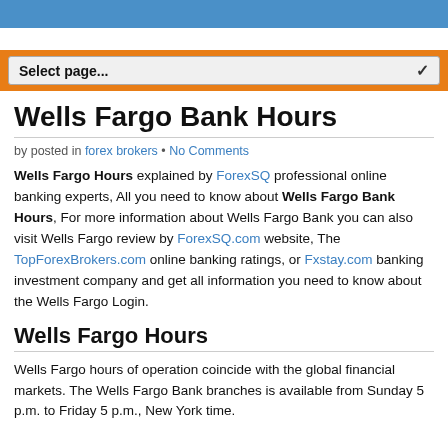Select page...
Wells Fargo Bank Hours
by posted in forex brokers • No Comments
Wells Fargo Hours explained by ForexSQ professional online banking experts, All you need to know about Wells Fargo Bank Hours, For more information about Wells Fargo Bank you can also visit Wells Fargo review by ForexSQ.com website, The TopForexBrokers.com online banking ratings, or Fxstay.com banking investment company and get all information you need to know about the Wells Fargo Login.
Wells Fargo Hours
Wells Fargo hours of operation coincide with the global financial markets. The Wells Fargo Bank branches is available from Sunday 5 p.m. to Friday 5 p.m., New York time.